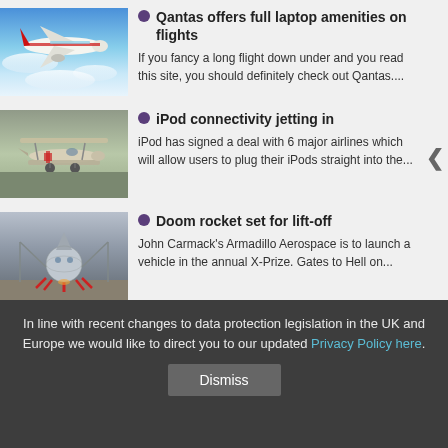Qantas offers full laptop amenities on flights
If you fancy a long flight down under and you read this site, you should definitely check out Qantas....
iPod connectivity jetting in
iPod has signed a deal with 6 major airlines which will allow users to plug their iPods straight into the...
Doom rocket set for lift-off
John Carmack's Armadillo Aerospace is to launch a vehicle in the annual X-Prize. Gates to Hell on...
In line with recent changes to data protection legislation in the UK and Europe we would like to direct you to our updated Privacy Policy here.
Dismiss